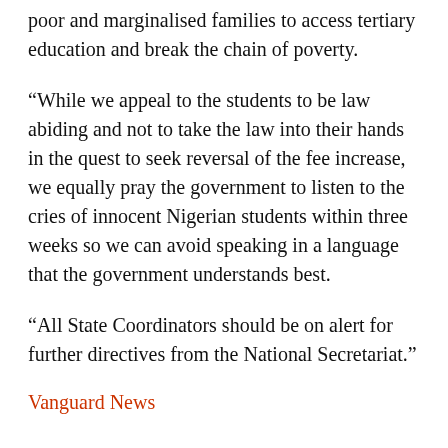poor and marginalised families to access tertiary education and break the chain of poverty.
“While we appeal to the students to be law abiding and not to take the law into their hands in the quest to seek reversal of the fee increase, we equally pray the government to listen to the cries of innocent Nigerian students within three weeks so we can avoid speaking in a language that the government understands best.
“All State Coordinators should be on alert for further directives from the National Secretariat.”
Vanguard News